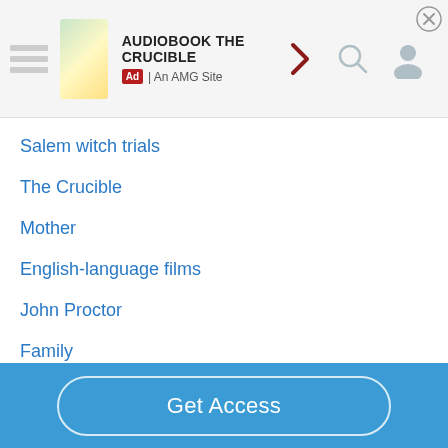[Figure (screenshot): Ad banner for 'Audiobook The Crucible', An AMG Site, with navigation icons (arrow, search, user) and a close button]
Salem witch trials
The Crucible
Mother
English-language films
John Proctor
Family
Privacy Policy
CA Privacy Policy
Get Access